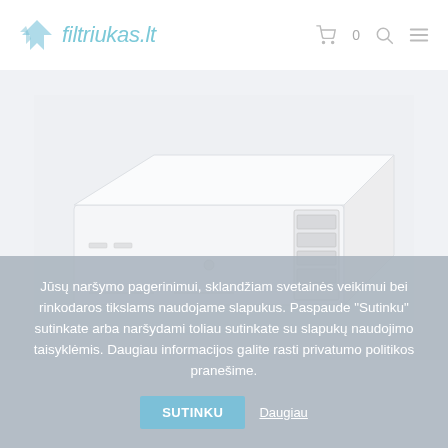[Figure (logo): Filtriukas.lt logo with stylized blue arrow/filter icon on the left]
[Figure (photo): White HVAC ceiling-mounted ventilation/air handling unit photographed against a light grey/white background]
Jūsų naršymo pagerinimui, sklandžiam svetainės veikimui bei rinkodaros tikslams naudojame slapukus. Paspaude "Sutinku" sutinkate arba naršydami toliau sutinkate su slapukų naudojimo taisyklėmis. Daugiau informacijos galite rasti privatumo politikos pranešime.
SUTINKU
Daugiau